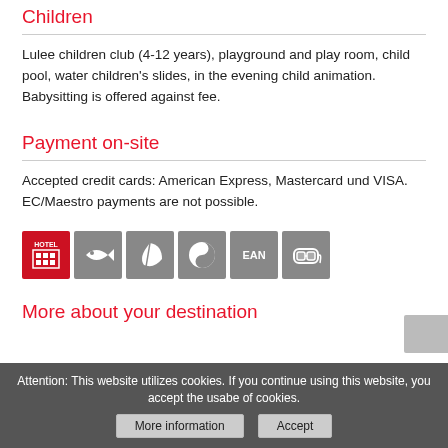Children
Lulee children club (4-12 years), playground and play room, child pool, water children's slides, in the evening child animation. Babysitting is offered against fee.
Payment on-site
Accepted credit cards: American Express, Mastercard und VISA. EC/Maestro payments are not possible.
[Figure (other): Row of six category icon buttons: Hotel (red background), fish/wildlife, leaf/nature, yin-yang, EAN, diving/snorkel mask]
More about your destination
Attention: This website utilizes cookies. If you continue using this website, you accept the usabe of cookies.
More information   Accept